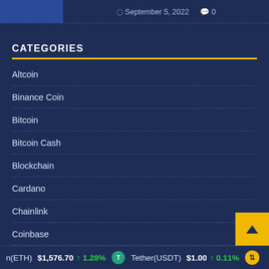September 5, 2022  0
CATEGORIES
Altcoin
Binance Coin
Bitcoin
Bitcoin Cash
Blockchain
Cardano
Chainlink
Coinbase
Cryptocurrency News
Defi
n(ETH) $1,576.70 ↑ 1.28%   Tether(USDT) $1.00 ↑ 0.11%